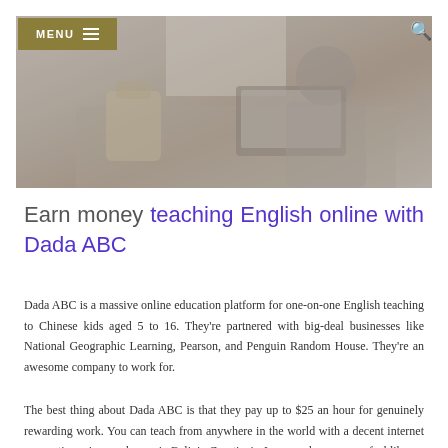MENU ☰
[Figure (photo): A person working on a laptop in a café or workspace setting, with bags and other items on the table, warm indoor lighting.]
Earn money teaching English online with Dada ABC
Dada ABC is a massive online education platform for one-on-one English teaching to Chinese kids aged 5 to 16. They're partnered with big-deal businesses like National Geographic Learning, Pearson, and Penguin Random House. They're an awesome company to work for.
The best thing about Dada ABC is that they pay up to $25 an hour for genuinely rewarding work. You can teach from anywhere in the world with a decent internet connection – in your home, in Bali, in Croatia, in Japan - wherever you feel like